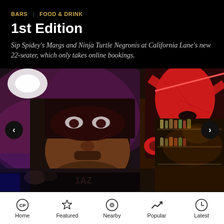BARS   FOOD & DRINK
1st Edition
Sip Spidey's Margs and Ninja Turtle Negronis at California Lane's new 22-seater, which only takes online bookings.
[Figure (photo): Interior of a bar featuring large comic-book style murals on the walls — a supervillain face on the left and Spider-Man on the right — with bar shelving visible in the background. Navigation arrows on left and right sides.]
Home   Featured   Nearby   Popular   Latest